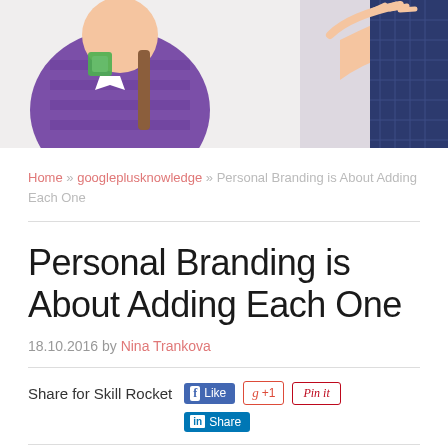[Figure (illustration): Illustration showing two animated characters in purple and blue clothing, one with a badge/award icon]
Home » googleplusknowledge » Personal Branding is About Adding Each One
Personal Branding is About Adding Each One
18.10.2016 by Nina Trankova
Share for Skill Rocket  [Like] [g +1] [Pin it] [in Share]